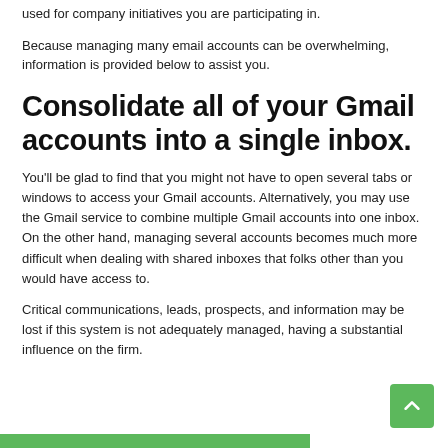used for company initiatives you are participating in.
Because managing many email accounts can be overwhelming, information is provided below to assist you.
Consolidate all of your Gmail accounts into a single inbox.
You'll be glad to find that you might not have to open several tabs or windows to access your Gmail accounts. Alternatively, you may use the Gmail service to combine multiple Gmail accounts into one inbox. On the other hand, managing several accounts becomes much more difficult when dealing with shared inboxes that folks other than you would have access to.
Critical communications, leads, prospects, and information may be lost if this system is not adequately managed, having a substantial influence on the firm.